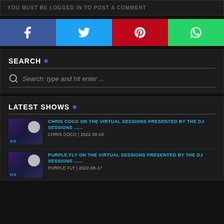YOU MUST BE LOGGED IN TO POST A COMMENT
[Figure (infographic): Social sharing buttons: Facebook, Twitter, Pinterest, WhatsApp]
SEARCH .
Search: type and hit enter ...
LATEST SHOWS .
CHRIS COCO ON THE VIRTUAL SESSIONS PRESENTED BY THE DJ SESSIONS ...... CHRIS COCO | 2022-08-18
PURPLE FLY ON THE VIRTUAL SESSIONS PRESENTED BY THE DJ SESSIONS ...... PURPLE FLY | 2022-08-17